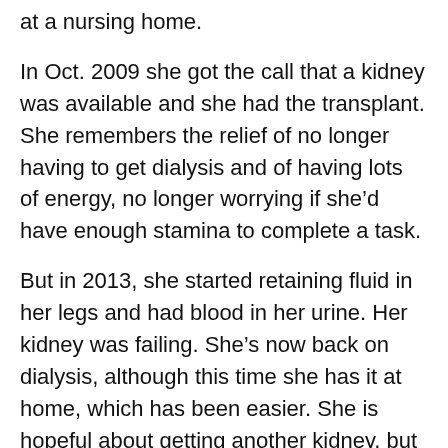at a nursing home.
In Oct. 2009 she got the call that a kidney was available and she had the transplant. She remembers the relief of no longer having to get dialysis and of having lots of energy, no longer worrying if she'd have enough stamina to complete a task.
But in 2013, she started retaining fluid in her legs and had blood in her urine. Her kidney was failing. She's now back on dialysis, although this time she has it at home, which has been easier. She is hopeful about getting another kidney, but understands that it might be a while.
While she waits, she stays busy. She took a culinary arts class last winter, cooks for her mom and wants to try some new recipes. She continues spreading the word about the importance of donation...